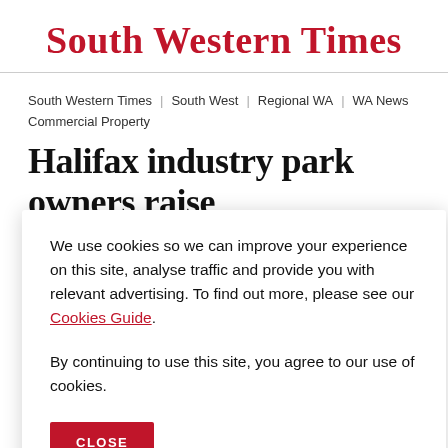South Western Times
South Western Times | South West | Regional WA | WA News Commercial Property
Halifax industry park owners raise
We use cookies so we can improve your experience on this site, analyse traffic and provide you with relevant advertising. To find out more, please see our Cookies Guide. By continuing to use this site, you agree to our use of cookies.
CLOSE